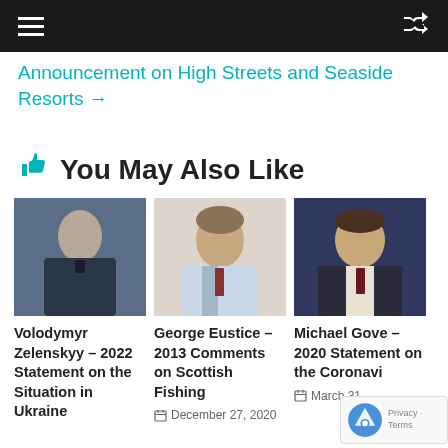≡   ✕ (navigation bar)
Announcement on High Streets and Seaside Resorts →
👍 You May Also Like
[Figure (photo): Portrait photo of Volodymyr Zelenskyy]
Volodymyr Zelenskyy – 2022 Statement on the Situation in Ukraine
[Figure (photo): Portrait photo of George Eustice]
George Eustice – 2013 Comments on Scottish Fishing
December 27, 2020
[Figure (photo): Portrait photo of Michael Gove]
Michael Gove – 2020 Statement on the Coronavirus
March 31,